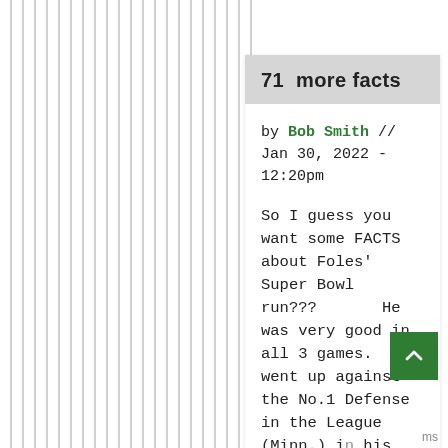71  more facts
by Bob Smith // Jan 30, 2022 - 12:20pm
So I guess you want some FACTS about Foles' Super Bowl run???      He was very good in all 3 games.  He went up against the No.1 Defense  in the League (Minn.) in his Conference Championship Game. Minn.